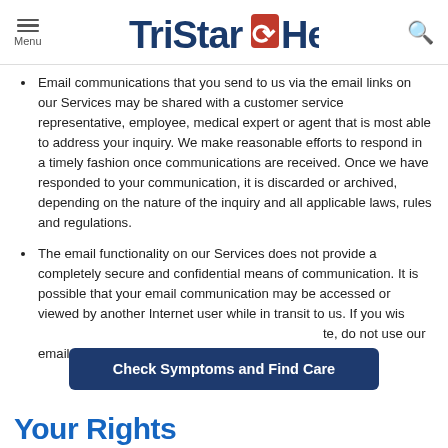Menu | TriStar Health | Search
Email communications that you send to us via the email links on our Services may be shared with a customer service representative, employee, medical expert or agent that is most able to address your inquiry. We make reasonable efforts to respond in a timely fashion once communications are received. Once we have responded to your communication, it is discarded or archived, depending on the nature of the inquiry and all applicable laws, rules and regulations.
The email functionality on our Services does not provide a completely secure and confidential means of communication. It is possible that your email communication may be accessed or viewed by another Internet user while in transit to us. If you wish to communicate privately, do not use our email.
Check Symptoms and Find Care
Your Rights